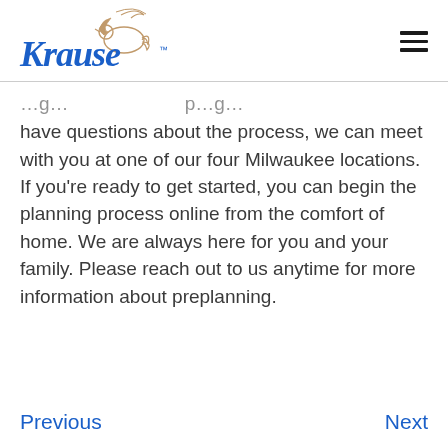[Figure (logo): Krause Funeral Home logo with stylized blue script text 'Krause' and a dove illustration in gold/brown, with TM mark]
have questions about the process, we can meet with you at one of our four Milwaukee locations. If you’re ready to get started, you can begin the planning process online from the comfort of home. We are always here for you and your family. Please reach out to us anytime for more information about preplanning.
Previous   Next